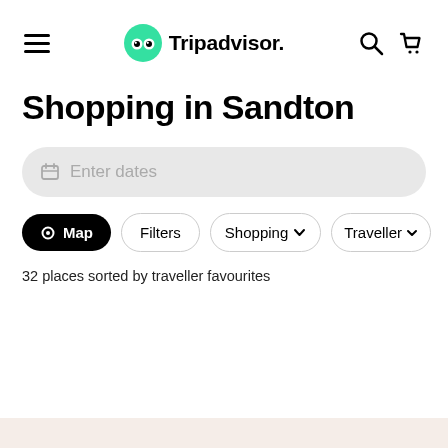Tripadvisor navigation bar
Shopping in Sandton
Enter dates
Map
Filters
Shopping
Traveller
32 places sorted by traveller favourites